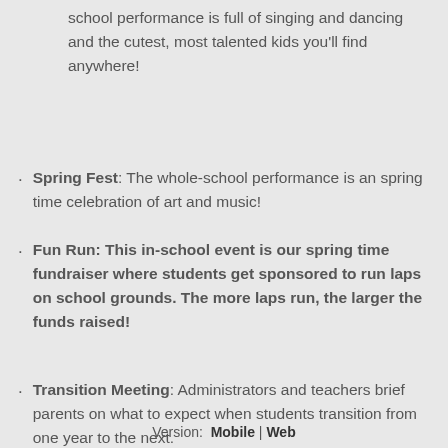school performance is full of singing and dancing and the cutest, most talented kids you'll find anywhere!
Spring Fest: The whole-school performance is an spring time celebration of art and music!
Fun Run: This in-school event is our spring time fundraiser where students get sponsored to run laps on school grounds. The more laps run, the larger the funds raised!
Transition Meeting: Administrators and teachers brief parents on what to expect when students transition from one year to the next.
Version: Mobile | Web